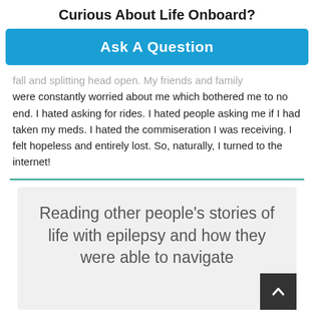Curious About Life Onboard?
Ask A Question
fall and splitting head open. My friends and family were constantly worried about me which bothered me to no end. I hated asking for rides. I hated people asking me if I had taken my meds. I hated the commiseration I was receiving. I felt hopeless and entirely lost. So, naturally, I turned to the internet!
Reading other people's stories of life with epilepsy and how they were able to navigate